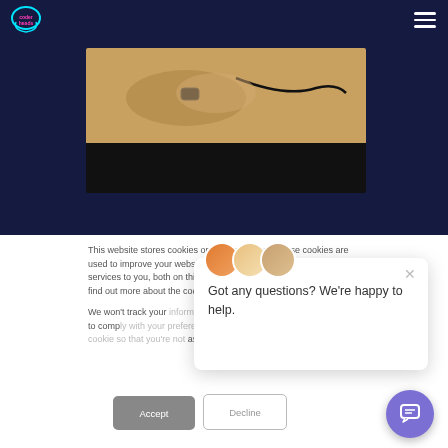[Figure (logo): Coder Heads logo - neon cloud shape with text inside, cyan and pink neon outline on dark background]
[Figure (photo): Person in tan/ochre sweater reaching forward, black smartwatch visible on wrist, cable visible, dark bar at bottom]
This website stores cookies on your computer. These cookies are used to improve your website and provide more personalized services to you, both on this website and through other media. To find out more about the cookies we use,
We won't track your information when you visit our site. But in order to comply with your preferences, we'll have to use just one tiny cookie so that you're not asked to make this choice again.
[Figure (screenshot): Chat popup with three avatar circles, close button X, text: Got any questions? We're happy to help.]
Accept
Decline